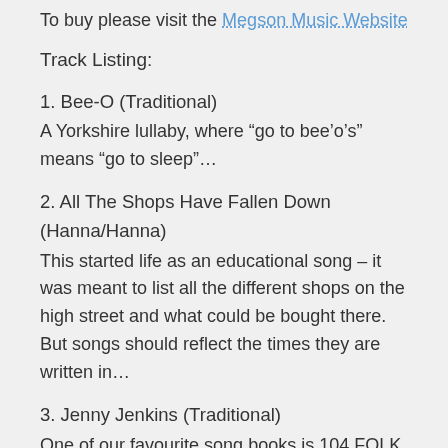To buy please visit the Megson Music Website
Track Listing:
1. Bee-O (Traditional)
A Yorkshire lullaby, where “go to bee’o’s” means “go to sleep”…
2. All The Shops Have Fallen Down (Hanna/Hanna)
This started life as an educational song – it was meant to list all the different shops on the high street and what could be bought there. But songs should reflect the times they are written in…
3. Jenny Jenkins (Traditional)
One of our favourite song books is 104 FOLK SONGS (as recorded on folkways records) compiled by Moses Asch, 1964.
The copy we have was rescued from a house